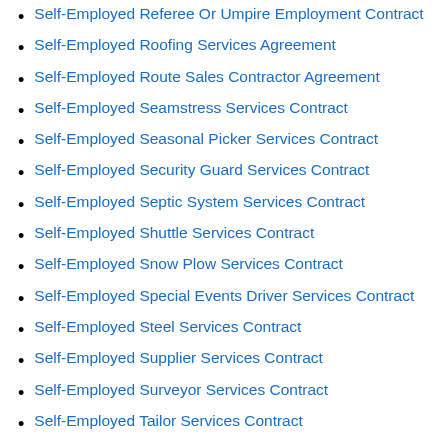Self-Employed Referee Or Umpire Employment Contract
Self-Employed Roofing Services Agreement
Self-Employed Route Sales Contractor Agreement
Self-Employed Seamstress Services Contract
Self-Employed Seasonal Picker Services Contract
Self-Employed Security Guard Services Contract
Self-Employed Septic System Services Contract
Self-Employed Shuttle Services Contract
Self-Employed Snow Plow Services Contract
Self-Employed Special Events Driver Services Contract
Self-Employed Steel Services Contract
Self-Employed Supplier Services Contract
Self-Employed Surveyor Services Contract
Self-Employed Tailor Services Contract